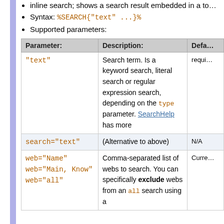inline search; shows a search result embedded in a to…
Syntax: %SEARCH{"text" ...}%
Supported parameters:
| Parameter: | Description: | Defa… |
| --- | --- | --- |
| "text" | Search term. Is a keyword search, literal search or regular expression search, depending on the type parameter. SearchHelp has more | requi… |
| search="text" | (Alternative to above) | N/A |
| web="Name"
web="Main, Know"
web="all" | Comma-separated list of webs to search. You can specifically exclude webs from an all search using a | Curre… |